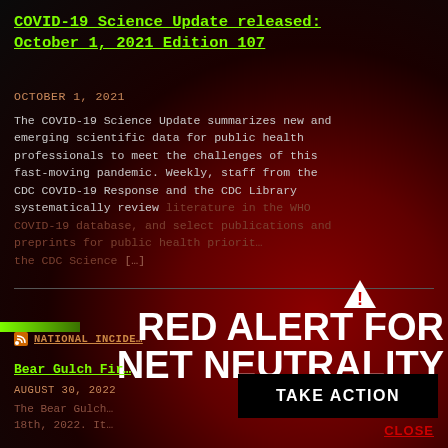COVID-19 Science Update released: October 1, 2021 Edition 107
OCTOBER 1, 2021
The COVID-19 Science Update summarizes new and emerging scientific data for public health professionals to meet the challenges of this fast-moving pandemic. Weekly, staff from the CDC COVID-19 Response and the CDC Library systematically review literature in the WHO COVID-19 database, and select publications and preprints for public health priorit… the CDC Science […]
[Figure (infographic): Red Alert for Net Neutrality overlay banner with warning triangle icon, bold white text reading RED ALERT FOR NET NEUTRALITY, a TAKE ACTION black button, and a CLOSE link]
NATIONAL INCIDE…
Bear Gulch Fir…
AUGUST 30, 2022
The Bear Gulch… 18th, 2022. It…